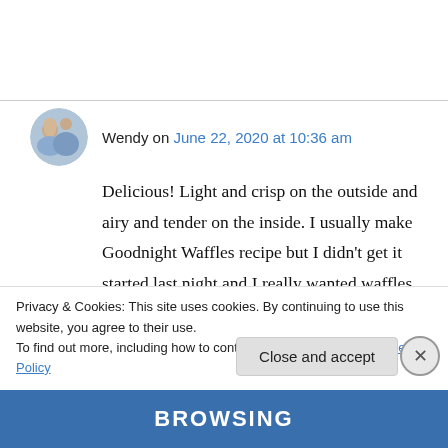Wendy on June 22, 2020 at 10:36 am
Delicious! Light and crisp on the outside and airy and tender on the inside. I usually make Goodnight Waffles recipe but I didn't get it started last night and I really wanted waffles today. This recipe is more work but you get to eat them fairly quickly. For folks who don't have self-rising flour you can make your own. To a 1
Privacy & Cookies: This site uses cookies. By continuing to use this website, you agree to their use.
To find out more, including how to control cookies, see here: Cookie Policy
Close and accept